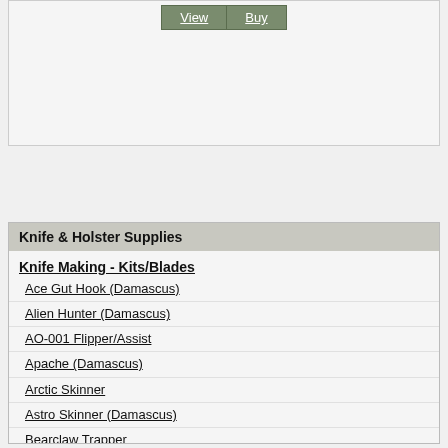[Figure (screenshot): Top section with View and Buy buttons on a light gray background]
Knife & Holster Supplies
Knife Making - Kits/Blades
Ace Gut Hook (Damascus)
Alien Hunter (Damascus)
AO-001 Flipper/Assist
Apache (Damascus)
Arctic Skinner
Astro Skinner (Damascus)
Bearclaw Trapper
Big Sky (Damascus)
Blue Duck
Bobcat
Bodyguard (Damascus)
Boot Dagger
Boot Fang Series
Boot Shark
Boot Skinner
Bull Shark
Bushido Series
Camp Hawk